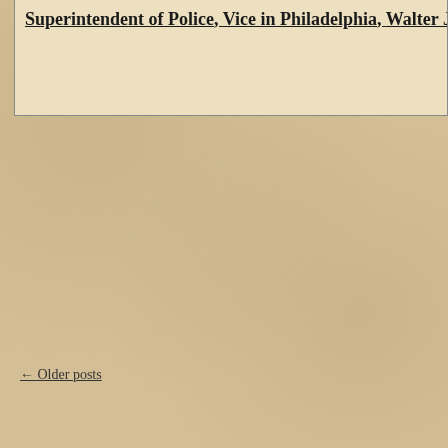Superintendent of Police, Vice in Philadelphia, Walter Johnson, World...
← Older posts
Purchase your co...
[Figure (photo): Partial sepia-toned historic photograph showing a building exterior with crowds of people on the street, cropped at the right edge of the page]